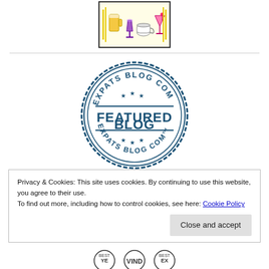[Figure (logo): Drinks illustration logo with beer mug, wine glass, teacup, and cocktail glass with decorative lines, bordered in dark frame on cream background]
[Figure (logo): Expats Blog .com Featured Blog circular stamp logo in dark blue, with scalloped border, stars, and text 'EXPATS BLOG COM' at top and bottom and 'FEATURED BLOG' in center]
Privacy & Cookies: This site uses cookies. By continuing to use this website, you agree to their use.
To find out more, including how to control cookies, see here: Cookie Policy
[Figure (logo): Three small circular badge logos at bottom of page, partially visible]